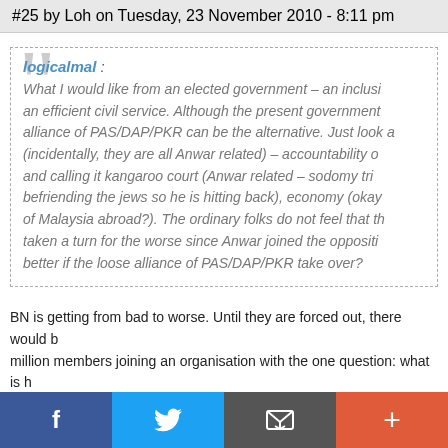#25 by Loh on Tuesday, 23 November 2010 - 8:11 pm
logicalmal : What I would like from an elected government – an inclu... an efficient civil service. Although the present government... alliance of PAS/DAP/PKR can be the alternative. Just look a... (incidentally, they are all Anwar related) – accountability o... and calling it kangaroo court (Anwar related – sodomy tri... befriending the jews so he is hitting back), economy (okay... of Malaysia abroad?). The ordinary folks do not feel that t... taken a turn for the worse since Anwar joined the oppositi... better if the loose alliance of PAS/DAP/PKR take over?
BN is getting from bad to worse. Until they are forced out, there would b... million members joining an organisation with the one question: what is h... state resources to hold the members together.
Pakatan Rakyat appears to be inexperienced in governing, they too wo... given a chance to ensure that two-party system in the country has a starti...